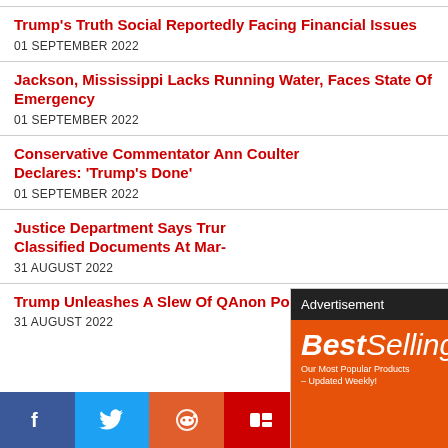Trump's Truth Social Reportedly Facing Financial Issues
01 SEPTEMBER 2022
Jackson, Mississippi Lacks Running Water, Faces State Of Emergency
01 SEPTEMBER 2022
Conservative Commentator Ann Coulter Declares: 'Trump's Done'
01 SEPTEMBER 2022
Justice Department Says Trump Stored Classified Documents At Mar-
31 AUGUST 2022
[Figure (infographic): AliExpress BestSelling advertisement overlay with orange background, shopping cart icon, 'Our Most Popular Products – Updated Weekly!' text, and Shop Now button]
Trump Unleashes A Slew Of QAnon Posts On Truth Social
31 AUGUST 2022
f  Twitter  Reddit  Mix  Flipboard  in